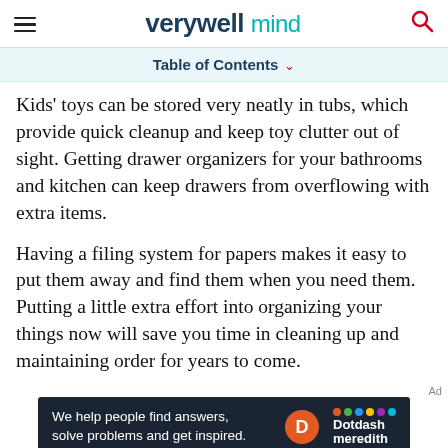verywell mind
Table of Contents
Kids' toys can be stored very neatly in tubs, which provide quick cleanup and keep toy clutter out of sight. Getting drawer organizers for your bathrooms and kitchen can keep drawers from overflowing with extra items.
Having a filing system for papers makes it easy to put them away and find them when you need them. Putting a little extra effort into organizing your things now will save you time in cleaning up and maintaining order for years to come.
[Figure (other): Dotdash Meredith advertisement banner: 'We help people find answers, solve problems and get inspired.']